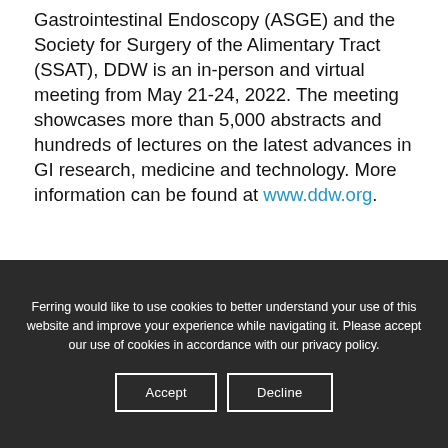Gastrointestinal Endoscopy (ASGE) and the Society for Surgery of the Alimentary Tract (SSAT), DDW is an in-person and virtual meeting from May 21-24, 2022. The meeting showcases more than 5,000 abstracts and hundreds of lectures on the latest advances in GI research, medicine and technology. More information can be found at www.ddw.org.
Ferring would like to use cookies to better understand your use of this website and improve your experience while navigating it. Please accept our use of cookies in accordance with our privacy policy.